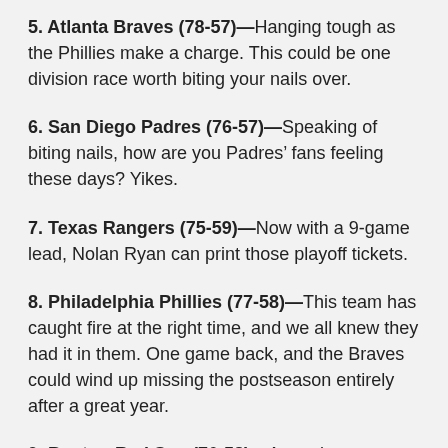5. Atlanta Braves (78-57)—Hanging tough as the Phillies make a charge. This could be one division race worth biting your nails over.
6. San Diego Padres (76-57)—Speaking of biting nails, how are you Padres' fans feeling these days? Yikes.
7. Texas Rangers (75-59)—Now with a 9-game lead, Nolan Ryan can print those playoff tickets.
8. Philadelphia Phillies (77-58)—This team has caught fire at the right time, and we all knew they had it in them. One game back, and the Braves could wind up missing the postseason entirely after a great year.
9. Boston Red Sox (76-58)—A good season, and they'd be in the divisional hunt in every other division but the AL East.